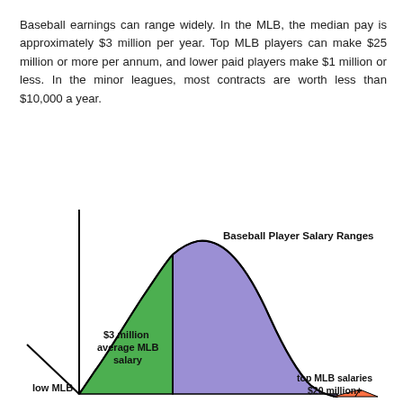Baseball earnings can range widely. In the MLB, the median pay is approximately $3 million per year. Top MLB players can make $25 million or more per annum, and lower paid players make $1 million or less. In the minor leagues, most contracts are worth less than $10,000 a year.
[Figure (continuous-plot): A bell-curve style distribution diagram showing baseball player salary ranges. The left portion of the bell curve is green (labeled 'low MLB' at the bottom left and '$3 million average MLB salary' in the middle-left area). The right portion is purple/blue. A small orange/pink triangle appears at the far right bottom labeled 'top MLB salaries $20 million+'. The vertical axis line is visible on the left. The chart title 'Baseball Player Salary Ranges' appears in bold at the upper right.]